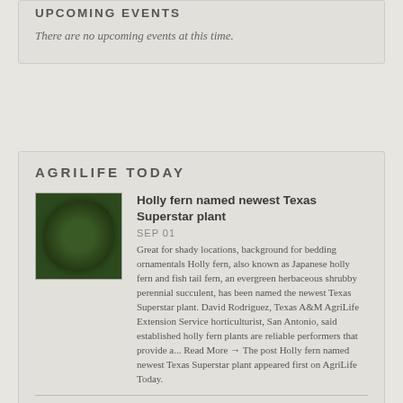UPCOMING EVENTS
There are no upcoming events at this time.
AGRILIFE TODAY
[Figure (photo): Holly fern plant, dark green shrubby foliage]
Holly fern named newest Texas Superstar plant
SEP 01
Great for shady locations, background for bedding ornamentals Holly fern, also known as Japanese holly fern and fish tail fern, an evergreen herbaceous shrubby perennial succulent, has been named the newest Texas Superstar plant. David Rodriguez, Texas A&M AgriLife Extension Service horticulturist, San Antonio, said established holly fern plants are reliable performers that provide a... Read More → The post Holly fern named newest Texas Superstar plant appeared first on AgriLife Today.
[Figure (photo): Two turfgrass students outdoors, softball grounds crew]
Two turfgrass students on all-female Little League softball grounds crew